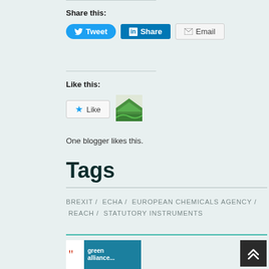Share this:
Tweet / Share / Email
Like this:
Like
One blogger likes this.
Tags
BREXIT / ECHA / EUROPEAN CHEMICALS AGENCY / REACH / STATUTORY INSTRUMENTS
[Figure (logo): Green Alliance logo with red quotation marks on white background and teal panel with white text 'green alliance...']
[Figure (other): Dark scroll-to-top button with double chevron arrows pointing up]